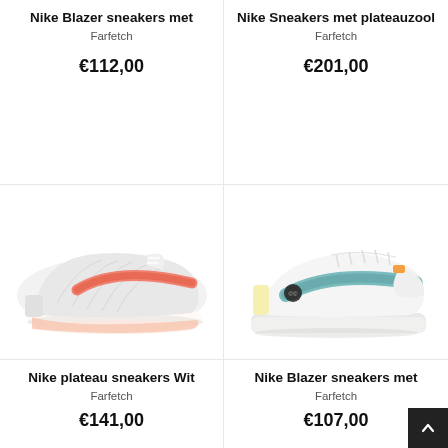Nike Blazer sneakers met
Farfetch
€112,00
Nike Sneakers met plateauzool
Farfetch
€201,00
[Figure (photo): White and salmon/coral Nike running sneaker (Zoom Fly) on white background]
[Figure (photo): White Nike Blazer platform sneaker with teal swoosh and yellow accent on white background]
Nike plateau sneakers Wit
Farfetch
€141,00
Nike Blazer sneakers met
Farfetch
€107,00